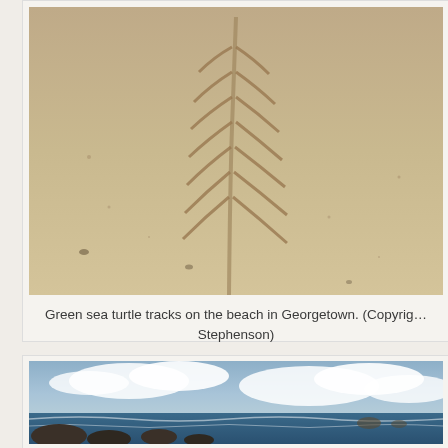[Figure (photo): Photograph of green sea turtle tracks in sandy beach at Georgetown, showing large curved impressions and flipper marks in the sand.]
Green sea turtle tracks on the beach in Georgetown. (Copyright Stephenson)
[Figure (photo): Photograph showing a coastal scene with ocean waves, rocky shoreline, and cloudy sky.]